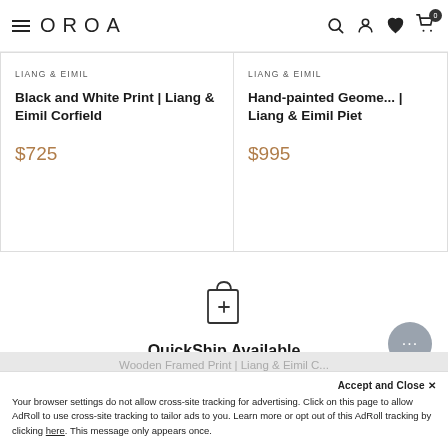OROA
LIANG & EIMIL
Black and White Print | Liang & Eimil Corfield
$725
LIANG & EIMIL
Hand-painted Geome... | Liang & Eimil Piet
$995
[Figure (illustration): Shopping bag with plus icon for QuickShip]
QuickShip Available
In Stock & Ready
Wooden Framed Print | Liang & Eimil C...
Accept and Close ✕
Your browser settings do not allow cross-site tracking for advertising. Click on this page to allow AdRoll to use cross-site tracking to tailor ads to you. Learn more or opt out of this AdRoll tracking by clicking here. This message only appears once.